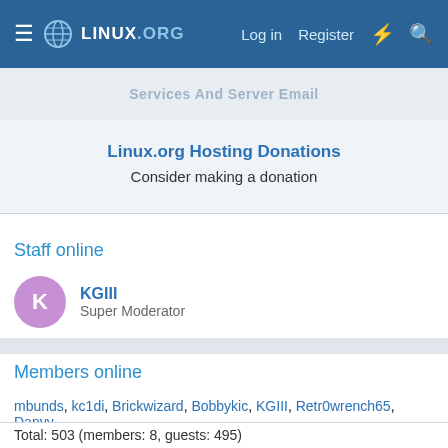LINUX.ORG — Log in  Register
...Services And Server Email...
Linux.org Hosting Donations
Consider making a donation
Staff online
KGIII
Super Moderator
Members online
mbunds, kc1di, Brickwizard, Bobbykic, KGIII, Retr0wrench65, Danyy
Total: 503 (members: 8, guests: 495)
Latest posts